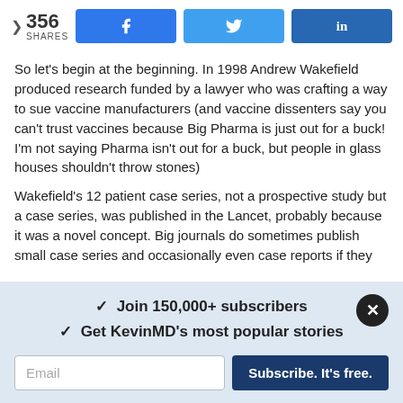356 SHARES | Facebook | Twitter | LinkedIn
So let's begin at the beginning. In 1998 Andrew Wakefield produced research funded by a lawyer who was crafting a way to sue vaccine manufacturers (and vaccine dissenters say you can't trust vaccines because Big Pharma is just out for a buck! I'm not saying Pharma isn't out for a buck, but people in glass houses shouldn't throw stones)
Wakefield's 12 patient case series, not a prospective study but a case series, was published in the Lancet, probably because it was a novel concept. Big journals do sometimes publish small case series and occasionally even case reports if they
✓  Join 150,000+ subscribers
✓  Get KevinMD's most popular stories
Subscribe. It's free.